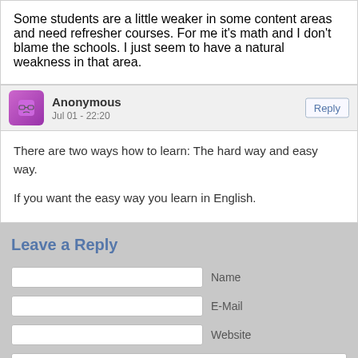Some students are a little weaker in some content areas and need refresher courses. For me it's math and I don't blame the schools. I just seem to have a natural weakness in that area.
Anonymous
Jul 01 - 22:20
There are two ways how to learn: The hard way and easy way.

If you want the easy way you learn in English.
Leave a Reply
Name
E-Mail
Website